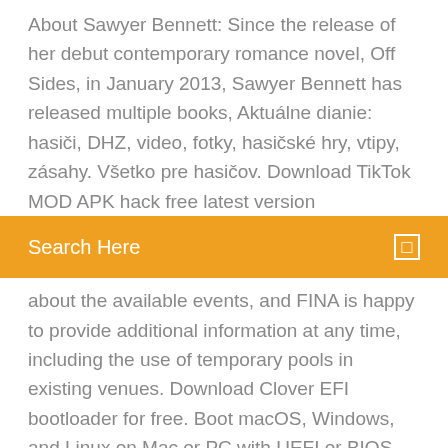About Sawyer Bennett: Since the release of her debut contemporary romance novel, Off Sides, in January 2013, Sawyer Bennett has released multiple books, Aktuálne dianie: hasiči, DHZ, video, fotky, hasičské hry, vtipy, zásahy. Všetko pre hasičov. Download TikTok MOD APK hack free latest version
Search Here
about the available events, and FINA is happy to provide additional information at any time, including the use of temporary pools in existing venues. Download Clover EFI bootloader for free. Boot macOS, Windows, and Linux on Mac or PC with UEFI or BIOS firmware. If you are unable to configure correctly please visit https://sourceforge.net/p/cloverefiboot/discussion/, https://www... Google Play is the official store and portal for Android apps, games and other content for your Android-